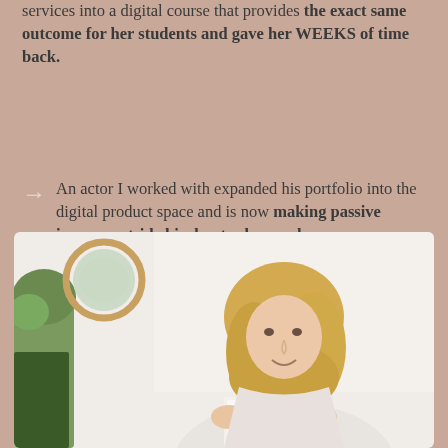Helped a ghostwriter turn her one-on-one services into a digital course that provides the exact same outcome for her students and gave her WEEKS of time back.
An actor I worked with expanded his portfolio into the digital product space and is now making passive income outside his day-to-day work.
[Figure (photo): A blonde woman reading or looking at a document, photographed in a bright interior space with a round mirror and plant visible in the background.]